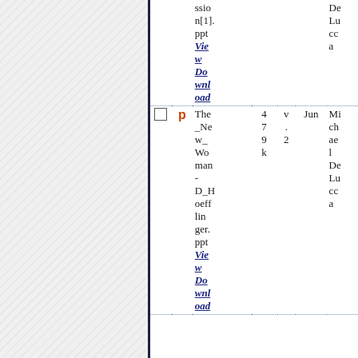|  |  | Filename | Num | Ver | Date | Author |
| --- | --- | --- | --- | --- | --- | --- |
|  |  | ssion[1].ppt
View
Download |  |  |  | De
Lu
cc
a |
| ☐ | P | The_New_Woman-D_Hoefflin
ger.ppt
View
Download | 4
7
9
k | v
.
2 | Jun | Mi
ch
ae
l
De
Lu
cc
a |